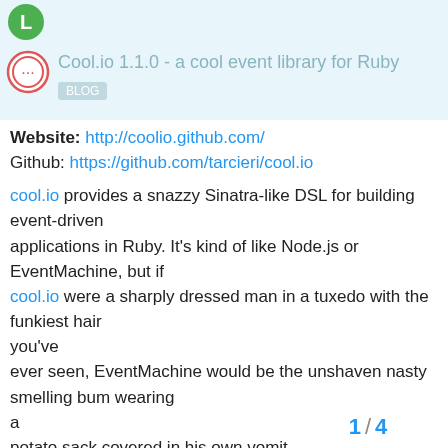[Figure (illustration): Green circular avatar with letter L on light blue background strip]
Cool.io 1.1.0 - a cool event library for Ruby
Website: http://coolio.github.com/
Github: https://github.com/tarcieri/cool.io
cool.io provides a snazzy Sinatra-like DSL for building event-driven applications in Ruby. It's kind of like Node.js or EventMachine, but if cool.io were a sharply dressed man in a tuxedo with the funkiest hair you've ever seen, EventMachine would be the unshaven nasty smelling bum wearing a potato sack covered in his own vomit. Node.js would be the crazy white guy with an afro in pink sunglasses and wearing polyester disco
1 / 4